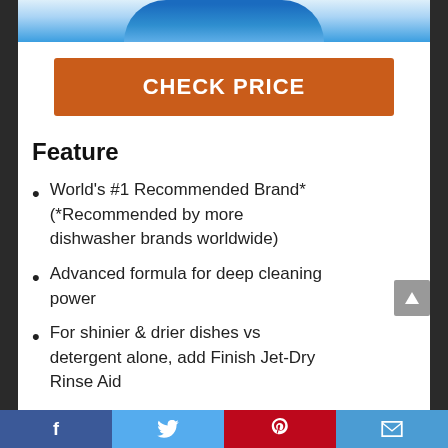[Figure (photo): Top portion of a product bottle/container, blue gradient background]
CHECK PRICE
Feature
World's #1 Recommended Brand* (*Recommended by more dishwasher brands worldwide)
Advanced formula for deep cleaning power
For shinier & drier dishes vs detergent alone, add Finish Jet-Dry Rinse Aid
Facebook Twitter Pinterest Email social share bar